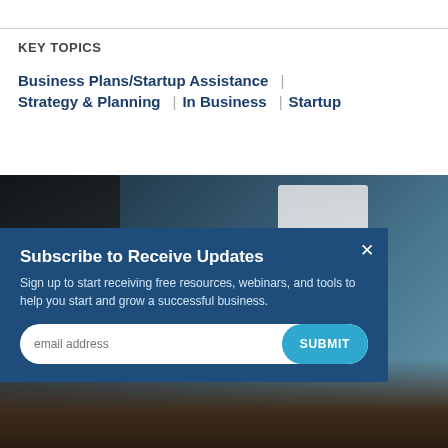KEY TOPICS
Business Plans/Startup Assistance | Strategy & Planning | In Business | Startup
[Figure (photo): Background photo of a laptop, documents with charts, and a person working at a desk]
Subscribe to Receive Updates
Sign up to start receiving free resources, webinars, and tools to help you start and grow a successful business.
email address  SUBMIT